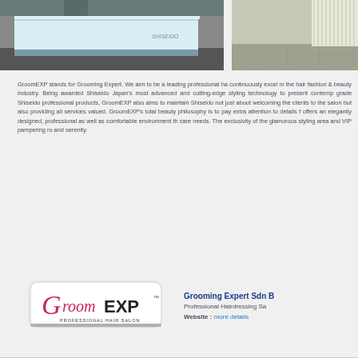[Figure (photo): Interior photo of GroomEXP hair salon showing a modern reception counter with Shiseido branding and illuminated display, plus a second view of the salon interior with vertical blinds]
GroomEXP stands for Grooming Expert. We aim to be a leading professional ha... continuously excel in the hair fashion & beauty industry. Being awarded Shiseido Japan's most advanced and cutting-edge styling technology to present contemp... grade Shiseido professional products, GroomEXP also aims to maintain Shiseido not just about welcoming the clients to the salon but also providing all services valued. GroomEXP's total beauty philosophy is to pay extra attention to details f... offers an elegantly designed, professional as well as comfortable environment th... care needs. The exclusivity of the glamorous styling area and VIP pampering ro... and serenity.
[Figure (logo): GroomEXP Professional Hair Salon logo — a white rounded rectangle badge with pink italic cursive 'Groom' and bold black 'EXP' text, with tagline 'PROFESSIONAL HAIR SALON']
Grooming Expert Sdn B...
Professional Hairdressing Sa...
Website : more details